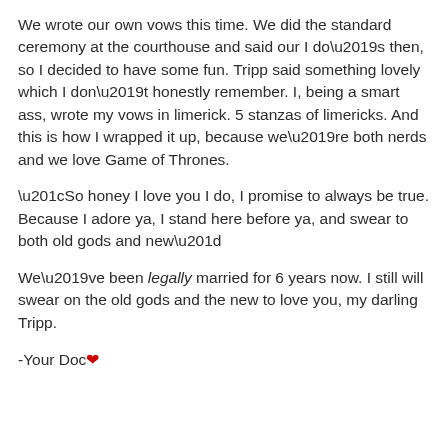We wrote our own vows this time. We did the standard ceremony at the courthouse and said our I do’s then, so I decided to have some fun. Tripp said something lovely which I don’t honestly remember. I, being a smart ass, wrote my vows in limerick. 5 stanzas of limericks. And this is how I wrapped it up, because we’re both nerds and we love Game of Thrones.
“So honey I love you I do, I promise to always be true. Because I adore ya, I stand here before ya, and swear to both old gods and new”
We’ve been legally married for 6 years now. I still will swear on the old gods and the new to love you, my darling Tripp.
-Your Doc ❤